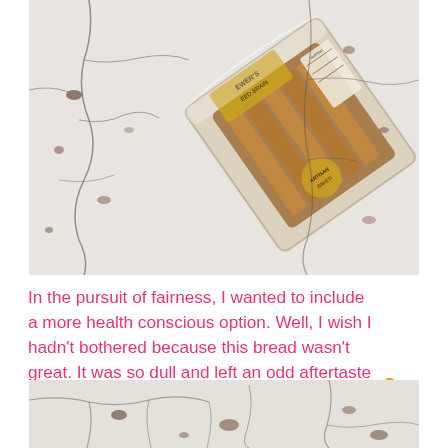[Figure (photo): Packaged multigrain/seeded bread loaf in a clear plastic bag with a gold label, photographed at an angle on a white distressed surface.]
In the pursuit of fairness, I wanted to include a more health conscious option. Well, I wish I hadn't bothered because this bread wasn't great. It was so dull and left an odd aftertaste in my mouth- clearly not today's winner.
[Figure (photo): Bottom portion of a white distressed cracked surface photo.]